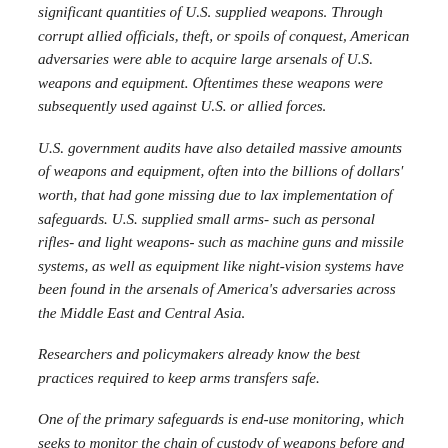significant quantities of U.S. supplied weapons. Through corrupt allied officials, theft, or spoils of conquest, American adversaries were able to acquire large arsenals of U.S. weapons and equipment. Oftentimes these weapons were subsequently used against U.S. or allied forces.
U.S. government audits have also detailed massive amounts of weapons and equipment, often into the billions of dollars' worth, that had gone missing due to lax implementation of safeguards. U.S. supplied small arms- such as personal rifles- and light weapons- such as machine guns and missile systems, as well as equipment like night-vision systems have been found in the arsenals of America's adversaries across the Middle East and Central Asia.
Researchers and policymakers already know the best practices required to keep arms transfers safe.
One of the primary safeguards is end-use monitoring, which seeks to monitor the chain of custody of weapons before and after they are transferred. End-use monitoring ensures arms and equipment are distributed to authorized end-users and used and secured properly. These